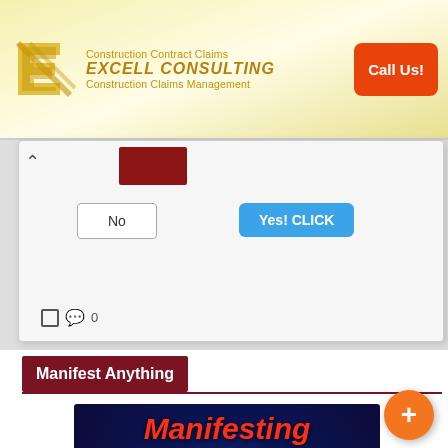[Figure (other): Excell Consulting advertisement banner with yellow/gold background, logo with stylized E, text 'Construction Contract Claims', 'EXCELL CONSULTING', 'Construction Claims Management', and orange 'Call Us!' button]
[Figure (screenshot): Popup dialog with No and Yes! CLICK buttons, partially visible user avatar, chevron/back arrow, comment icon with 0]
Manifest Anything
[Figure (photo): Dark space/galaxy background image with text 'Manifesting anything you want, just got' in red and white bold italic font, with partial view of icons at bottom]